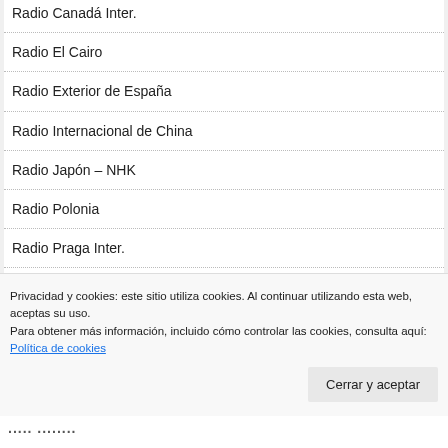Radio Canadá Inter.
Radio El Cairo
Radio Exterior de España
Radio Internacional de China
Radio Japón – NHK
Radio Polonia
Radio Praga Inter.
Radio Rumania Inter.
Radio Slovakia Inter.
Privacidad y cookies: este sitio utiliza cookies. Al continuar utilizando esta web, aceptas su uso.
Para obtener más información, incluido cómo controlar las cookies, consulta aquí: Política de cookies
Cerrar y aceptar